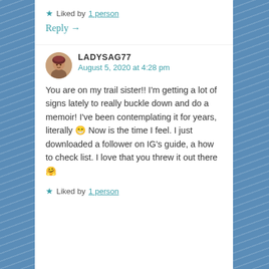Liked by 1 person
Reply →
LADYSAG77
August 5, 2020 at 4:28 pm
You are on my trail sister!! I'm getting a lot of signs lately to really buckle down and do a memoir! I've been contemplating it for years, literally 😁 Now is the time I feel. I just downloaded a follower on IG's guide, a how to check list. I love that you threw it out there🤗
Liked by 1 person